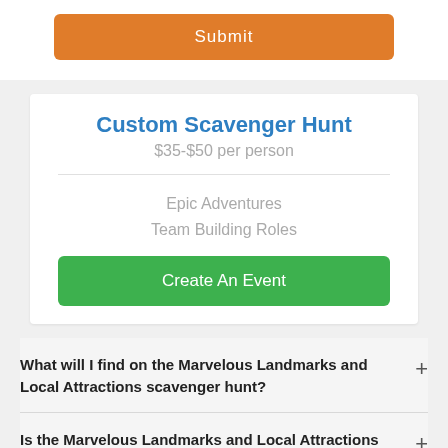[Figure (other): Orange Submit button]
Custom Scavenger Hunt
$35-$50 per person
Epic Adventures
Team Building Roles
[Figure (other): Green Create An Event button]
What will I find on the Marvelous Landmarks and Local Attractions scavenger hunt?
Is the Marvelous Landmarks and Local Attractions scavenger hunt good for team building?